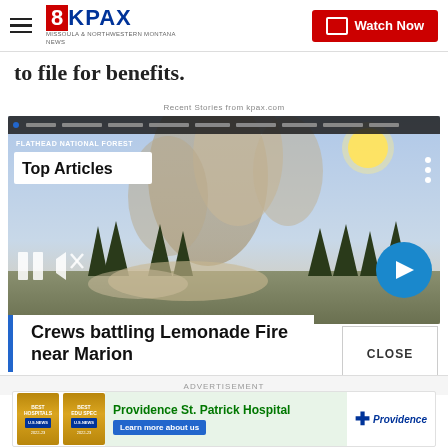8KPAX | Watch Now
to file for benefits.
Recent Stories from kpax.com
[Figure (screenshot): Video player showing wildfire/smoke scene in Flathead National Forest area with Top Articles badge overlay, pause and mute controls, next arrow button]
Crews battling Lemonade Fire near Marion
ADVERTISEMENT
[Figure (infographic): Providence St. Patrick Hospital advertisement banner with Best Hospitals US News badge and Learn more about us button]